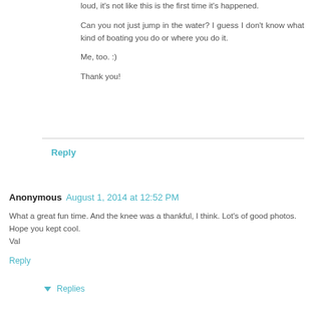loud, it's not like this is the first time it's happened.
Can you not just jump in the water? I guess I don't know what kind of boating you do or where you do it.
Me, too. :)
Thank you!
Reply
Anonymous  August 1, 2014 at 12:52 PM
What a great fun time. And the knee was a thankful, I think. Lot's of good photos. Hope you kept cool.
Val
Reply
Replies